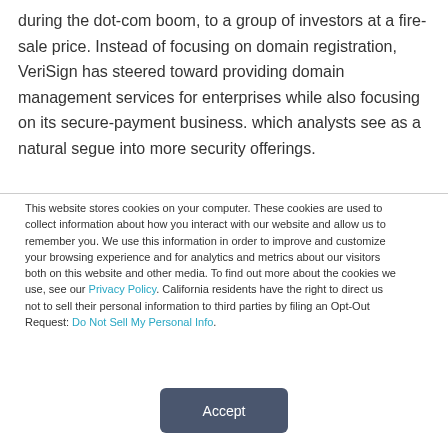during the dot-com boom, to a group of investors at a fire-sale price. Instead of focusing on domain registration, VeriSign has steered toward providing domain management services for enterprises while also focusing on its secure-payment business. which analysts see as a natural segue into more security offerings.
This website stores cookies on your computer. These cookies are used to collect information about how you interact with our website and allow us to remember you. We use this information in order to improve and customize your browsing experience and for analytics and metrics about our visitors both on this website and other media. To find out more about the cookies we use, see our Privacy Policy. California residents have the right to direct us not to sell their personal information to third parties by filing an Opt-Out Request: Do Not Sell My Personal Info.